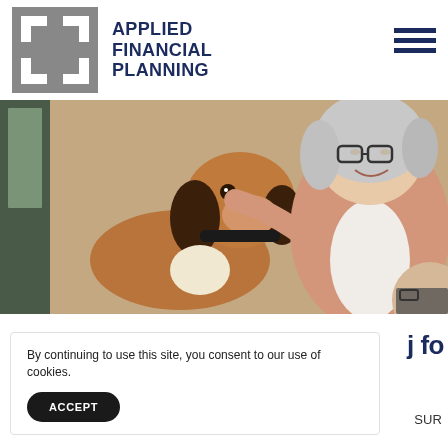[Figure (logo): Applied Financial Planning logo: grey square with stylized white bracket/arrow shapes, followed by bold dark navy text reading APPLIED FINANCIAL PLANNING]
[Figure (photo): Hero photo of a smiling older woman with grey hair and glasses petting a beagle dog, with an older man partially visible in the lower right corner]
By continuing to use this site, you consent to our use of cookies.
ACCEPT
j fo
SUR